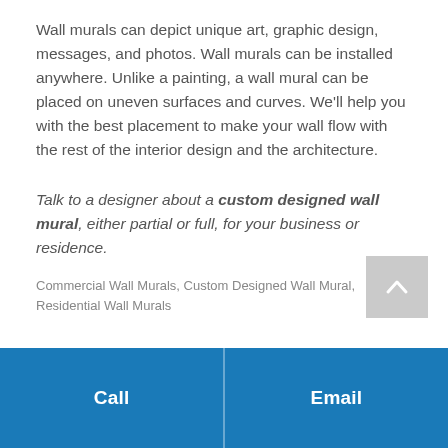Wall murals can depict unique art, graphic design, messages, and photos. Wall murals can be installed anywhere. Unlike a painting, a wall mural can be placed on uneven surfaces and curves. We'll help you with the best placement to make your wall flow with the rest of the interior design and the architecture.
Talk to a designer about a custom designed wall mural, either partial or full, for your business or residence.
Commercial Wall Murals, Custom Designed Wall Mural, Residential Wall Murals
Call   Email